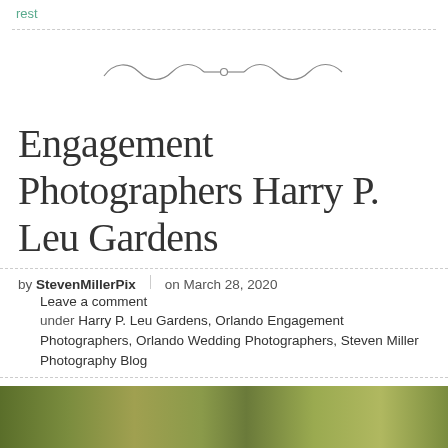rest
[Figure (illustration): Decorative ornamental divider line with wavy flourish]
Engagement Photographers Harry P. Leu Gardens
by StevenMillerPix on March 28, 2020
Leave a comment
under Harry P. Leu Gardens, Orlando Engagement Photographers, Orlando Wedding Photographers, Steven Miller Photography Blog
[Figure (photo): Partial view of outdoor garden photograph at bottom of page]